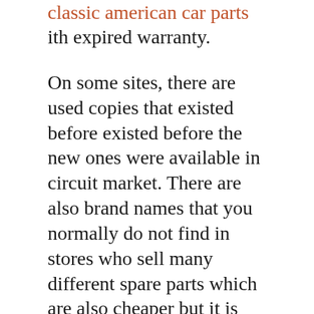classic american car parts
ith expired warranty.
On some sites, there are used copies that existed before existed before the new ones were available in circuit market. There are also brand names that you normally do not find in stores who sell many different spare parts which are also cheaper but it is good to know that if its is branded it means higher quality part. This way you
—
The base model Ford Mustang is